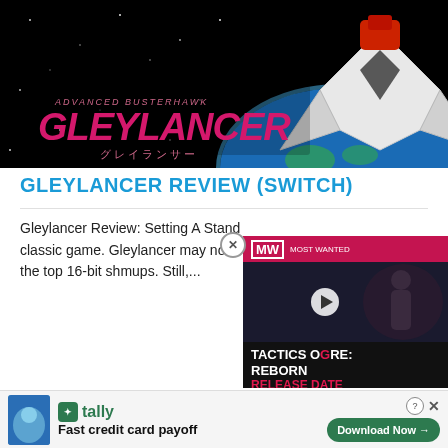[Figure (illustration): Gleylancer video game cover art showing a white spaceship against a dark space background with Earth visible, with red and pink stylized 'GLEYLANCER' logo text and Japanese characters]
GLEYLANCER REVIEW (SWITCH)
Gleylancer Review: Setting A Standard. This is how you update a classic game. Gleylancer may not have been listed among few of the top 16-bit shmups. Still,...
[Figure (screenshot): Tactics Ogre: Reborn release date video advertisement overlay with MW logo, play button, and pink/red text on dark background]
[Figure (infographic): Tally app advertisement banner: Fast credit card payoff, with Download Now button]